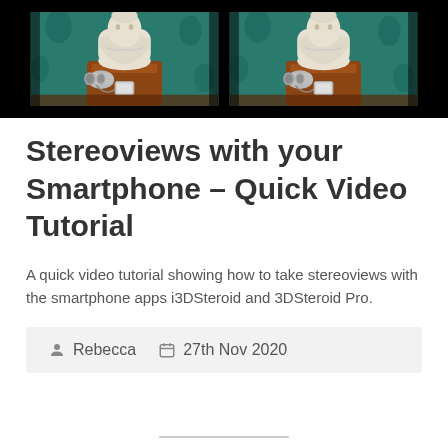[Figure (photo): A stereopair image showing two side-by-side identical photos of a Victorian-style bust sculpture with camera/binoculars on a wooden table against a teal floral background, framed in black.]
Stereoviews with your Smartphone – Quick Video Tutorial
A quick video tutorial showing how to take stereoviews with the smartphone apps i3DSteroid and 3DSteroid Pro.
Rebecca   27th Nov 2020